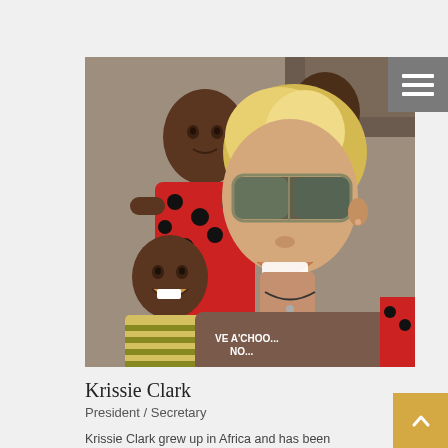[Figure (photo): A smiling blonde woman wearing sunglasses and a brown t-shirt takes a selfie with two African children, one wearing a red polka-dot outfit and one in a striped shirt. Outdoor setting.]
Krissie Clark
President / Secretary
Krissie Clark grew up in Africa and has been